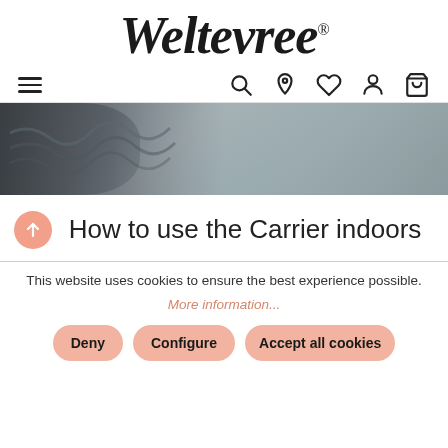[Figure (logo): Weltevree brand logo in italic serif font with registered trademark symbol]
[Figure (screenshot): Navigation bar with hamburger menu on left and icons (search, location, heart/wishlist, account, cart) on right]
[Figure (photo): Hero image showing a blue-grey woven or knitted textile/yarn object on a grey surface]
How to use the Carrier indoors
This website uses cookies to ensure the best experience possible.
More information...
Deny
Configure
Accept all cookies